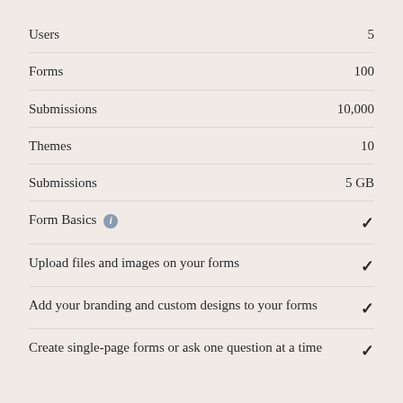Users — 5
Forms — 100
Submissions — 10,000
Themes — 10
Submissions — 5 GB
Form Basics — ✓
Upload files and images on your forms — ✓
Add your branding and custom designs to your forms — ✓
Create single-page forms or ask one question at a time — ✓